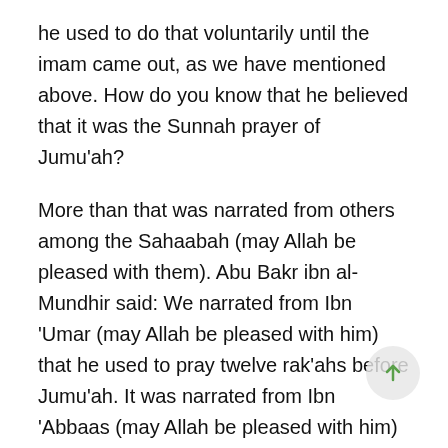he used to do that voluntarily until the imam came out, as we have mentioned above. How do you know that he believed that it was the Sunnah prayer of Jumu'ah?
More than that was narrated from others among the Sahaabah (may Allah be pleased with them). Abu Bakr ibn al-Mundhir said: We narrated from Ibn 'Umar (may Allah be pleased with him) that he used to pray twelve rak'ahs before Jumu'ah. It was narrated from Ibn 'Abbaas (may Allah be pleased with him) that he used to pray eight rak'ahs. This indicates that they did this as something voluntary on their own initiative, without any instructions from the Prophet (blessings and peace of Allah be upon